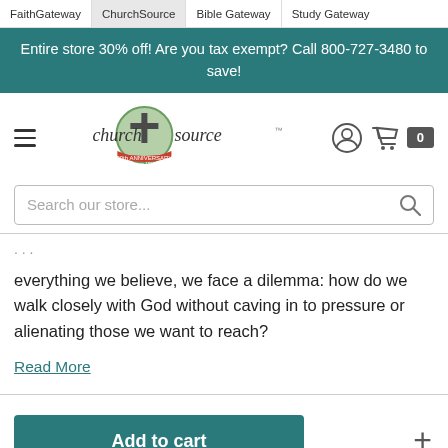FaithGateway | ChurchSource | Bible Gateway | Study Gateway
Entire store 30% off! Are you tax exempt? Call 800-727-3480 to save!
[Figure (logo): ChurchSource logo with cross and 30th anniversary banner]
Search our store...
everything we believe, we face a dilemma: how do we walk closely with God without caving in to pressure or alienating those we want to reach?
Read More
Add to cart